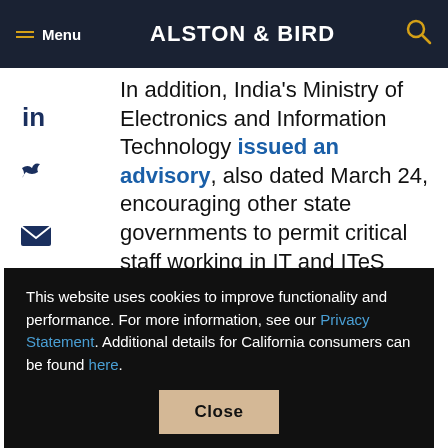Menu | ALSTON & BIRD
In addition, India's Ministry of Electronics and Information Technology issued an advisory, also dated March 24, encouraging other state governments to permit critical staff working in IT and ITeS establishments ...such as ...ue ...es are ...ds.
This website uses cookies to improve functionality and performance. For more information, see our Privacy Statement. Additional details for California consumers can be found here.
Close
However, even with such a designation,